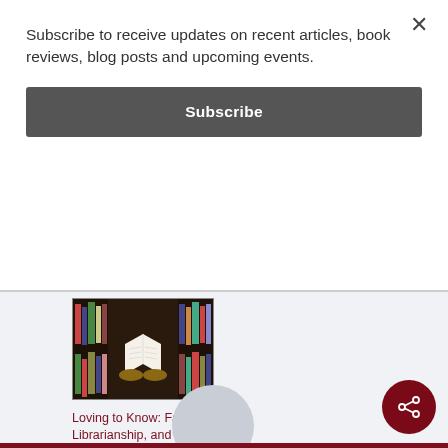Subscribe to receive updates on recent articles, book reviews, blog posts and upcoming events.
Subscribe
[Figure (photo): A person holding an open book in front of a bookshelf filled with colorful books, photographed from behind.]
Loving to Know: Faith, Librarianship, and Epistemology
August 10, 2022
In "Blog"